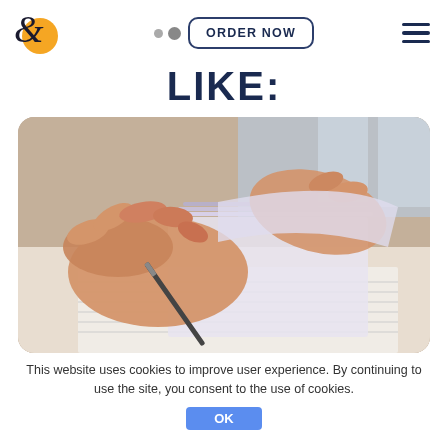[Figure (logo): Stylized italic E letter with orange circle background, acting as brand logo]
ORDER NOW
LIKE:
[Figure (photo): Close-up of hands writing with a pen on paper/notebook, likely representing academic writing or essay work]
This website uses cookies to improve user experience. By continuing to use the site, you consent to the use of cookies.
OK